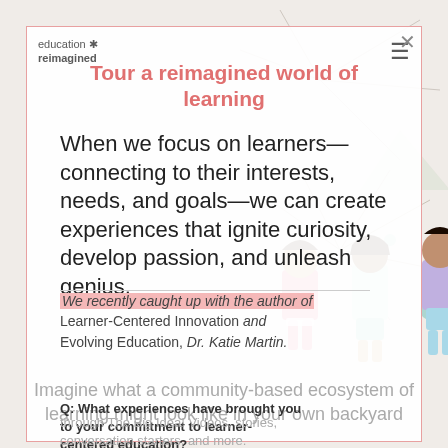[Figure (illustration): Background illustration of cartoon children with a starburst/network diagram pattern behind them, colorful figures on a light background]
education reimagined [logo with asterisk]
Tour a reimagined world of learning
When we focus on learners—connecting to their interests, needs, and goals—we can create experiences that ignite curiosity, develop passion, and unleash genius.
We recently caught up with the author of Learner-Centered Innovation and Evolving Education, Dr. Katie Martin.
Imagine what a community-based ecosystem of learning might look like in your own backyard
Q: What experiences have brought you to your commitment to learner-centered education?
through The Big Idea! Videos, stories, conversation starters, and more.